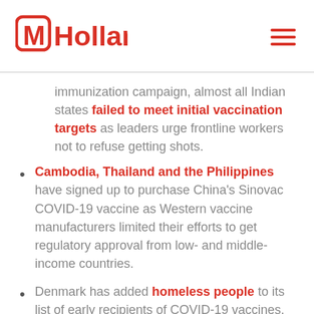MHolland
immunization campaign, almost all Indian states failed to meet initial vaccination targets as leaders urge frontline workers not to refuse getting shots.
Cambodia, Thailand and the Philippines have signed up to purchase China's Sinovac COVID-19 vaccine as Western vaccine manufacturers limited their efforts to get regulatory approval from low- and middle-income countries.
Denmark has added homeless people to its list of early recipients of COVID-19 vaccines.